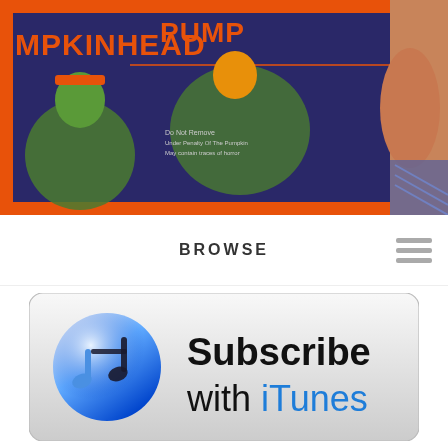[Figure (photo): Close-up photo of a Pumpkinhead box/packaging with dark blue background, orange border, green monster figures, on an orange background. A person's face is partially visible on the right.]
BROWSE
[Figure (screenshot): Subscribe with iTunes banner button featuring iTunes music note icon on the left and text 'Subscribe with iTunes' on the right, on a grey gradient rounded rectangle background.]